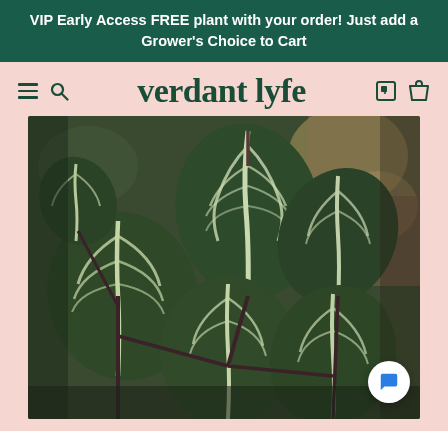VIP Early Access FREE plant with your order! Just add a Grower's Choice to Cart
verdant lyfe
[Figure (photo): Close-up photograph of Peperomia watermelon plant with dark green and silver-white striped heart-shaped leaves on dark stems, taken indoors with bokeh background]